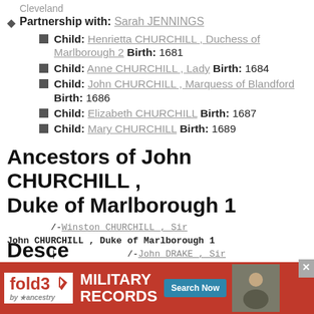Cleveland
Partnership with: Sarah JENNINGS
Child: Henrietta CHURCHILL , Duchess of Marlborough 2 Birth: 1681
Child: Anne CHURCHILL , Lady Birth: 1684
Child: John CHURCHILL , Marquess of Blandford Birth: 1686
Child: Elizabeth CHURCHILL Birth: 1687
Child: Mary CHURCHILL Birth: 1689
Ancestors of John CHURCHILL , Duke of Marlborough 1
/-Winston CHURCHILL , Sir
John CHURCHILL , Duke of Marlborough 1
          |              /-John DRAKE , Sir
          \-Elizabeth DRAKE
                       |               /-John BOTELER , Lord of B
                       \-Helen BOTELER
                                       \-Elizabeth VILLIERS
Desce... Duke...
[Figure (other): fold3 by ancestry - Military Records advertisement banner with Search Now button and soldier photo]